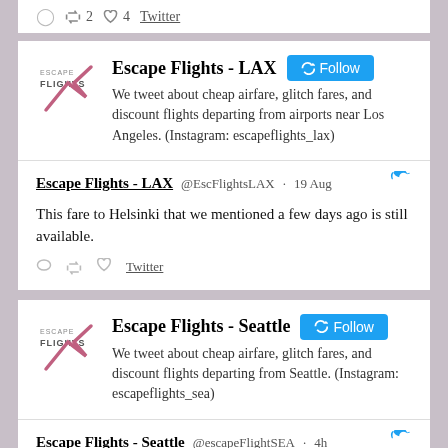↺2 ♡4 Twitter
[Figure (screenshot): Escape Flights - LAX Twitter profile card with logo, Follow button, and bio: We tweet about cheap airfare, glitch fares, and discount flights departing from airports near Los Angeles. (Instagram: escapeflights_lax)]
Escape Flights - LAX @EscFlightsLAX · 19 Aug
This fare to Helsinki that we mentioned a few days ago is still available.
[reply] [retweet] [like] Twitter
[Figure (screenshot): Escape Flights - Seattle Twitter profile card with logo, Follow button, and bio: We tweet about cheap airfare, glitch fares, and discount flights departing from Seattle. (Instagram: escapeflights_sea)]
Escape Flights - Seattle @escapeFlightSEA · 4h
Cheap Flights: Seattle to Edinburgh $530 r/t [October]